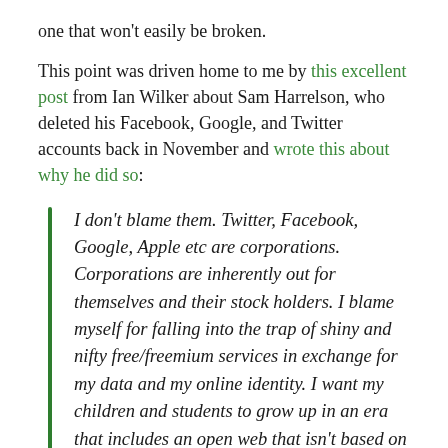one that won't easily be broken.
This point was driven home to me by this excellent post from Ian Wilker about Sam Harrelson, who deleted his Facebook, Google, and Twitter accounts back in November and wrote this about why he did so:
I don't blame them. Twitter, Facebook, Google, Apple etc are corporations. Corporations are inherently out for themselves and their stock holders. I blame myself for falling into the trap of shiny and nifty free/freemium services in exchange for my data and my online identity. I want my children and students to grow up in an era that includes an open web that isn't based on advertising or 3rd party cookie data mining.
There are few of us who are as committed to the idea of breaking our dependency on these services as Sam is. I